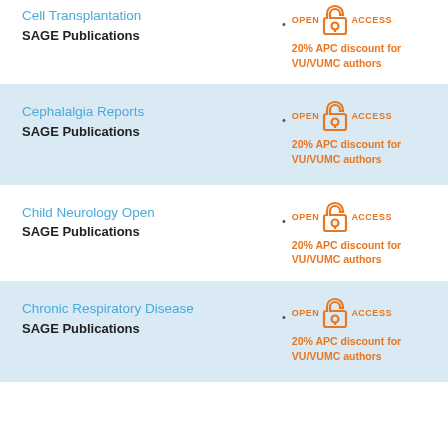Cell Transplantation
SAGE Publications
20% APC discount for VU/VUMC authors
Cephalalgia Reports
SAGE Publications
20% APC discount for VU/VUMC authors
Child Neurology Open
SAGE Publications
20% APC discount for VU/VUMC authors
Chronic Respiratory Disease
SAGE Publications
20% APC discount for VU/VUMC authors